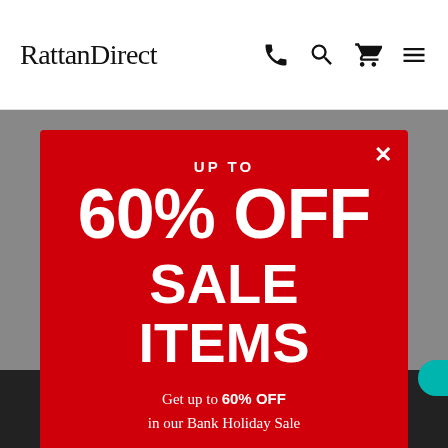RattanDirect
[Figure (screenshot): Red popup modal overlay on a gray background. Contains promotional text: UP TO 60% OFF SALE ITEMS, Get up to 60% OFF in our Bank Holiday Sale, with a SHOP SALE button. Close X button in top right of modal.]
Home